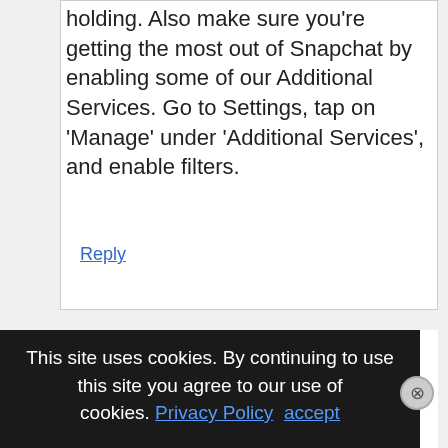holding. Also make sure you're getting the most out of Snapchat by enabling some of our Additional Services. Go to Settings, tap on 'Manage' under 'Additional Services', and enable filters.
Reply
Amy
October 12, 2016 at 6:18 pm
This site uses cookies. By continuing to use this site you agree to our use of cookies. Privacy Policy  accept